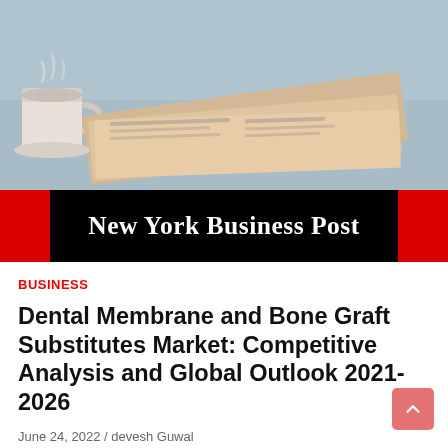[Figure (photo): Newspaper and coffee cup photo used as header image for New York Business Post article]
New York Business Post
BUSINESS
Dental Membrane and Bone Graft Substitutes Market: Competitive Analysis and Global Outlook 2021-2026
June 24, 2022 / devesh Guwal
Stratview Research has published a new report titled